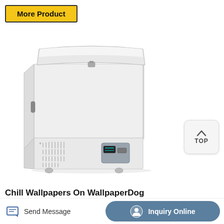More Product
[Figure (photo): A white chest freezer / ultra-low temperature freezer with ventilation grilles at the bottom, a control panel, a locking lid, and casters. The appliance is shown on a white background.]
[Figure (other): TOP navigation button with upward chevron arrow icon, rounded rectangle shape, light gray background]
Chill Wallpapers On WallpaperDog
Send Message
Inquiry Online